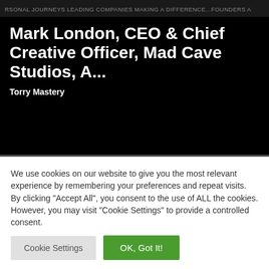RSONAL JOURNEYS LEADING COMPANIES MAKING A DIFFERENCE...FOUNDERS A
Mark London, CEO & Chief Creative Officer, Mad Cave Studios, A...
Torry Mastery
We use cookies on our website to give you the most relevant experience by remembering your preferences and repeat visits. By clicking "Accept All", you consent to the use of ALL the cookies. However, you may visit "Cookie Settings" to provide a controlled consent.
Cookie Settings | OK, Got It!